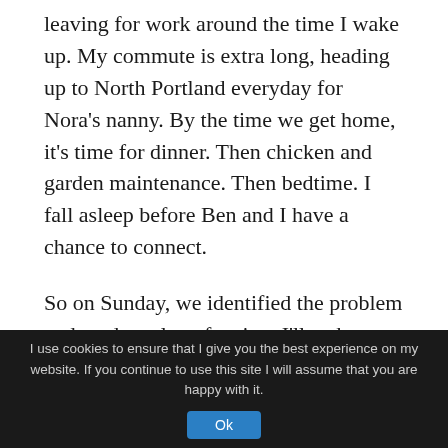leaving for work around the time I wake up. My commute is extra long, heading up to North Portland everyday for Nora's nanny. By the time we get home, it's time for dinner. Then chicken and garden maintenance. Then bedtime. I fall asleep before Ben and I have a chance to connect.
So on Sunday, we identified the problem and made a plan of action. I'll wake up at 5:00am, with Ben. Nora's been sleeping until around 7:00am, so there will be plenty of time to chat before she
I use cookies to ensure that I give you the best experience on my website. If you continue to use this site I will assume that you are happy with it. Ok